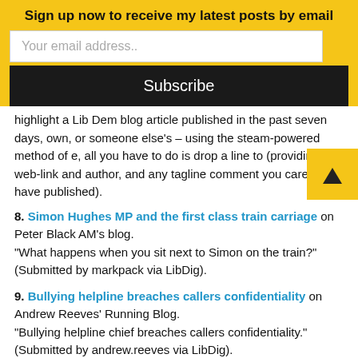Sign up now to receive my latest posts by email
Your email address..
Subscribe
highlight a Lib Dem blog article published in the past seven days, own, or someone else's – using the steam-powered method of e, all you have to do is drop a line to (providing the web-link and author, and any tagline comment you care to have published).
8. Simon Hughes MP and the first class train carriage on Peter Black AM's blog.
"What happens when you sit next to Simon on the train?" (Submitted by markpack via LibDig).
9. Bullying helpline breaches callers confidentiality on Andrew Reeves' Running Blog.
"Bullying helpline chief breaches callers confidentiality." (Submitted by andrew.reeves via LibDig).
10. No Lib Dems on Question Time – Geeks' Special on Caron Lindsay's Musings.
"Caron crunches the numbers and rounds up the comments – give this